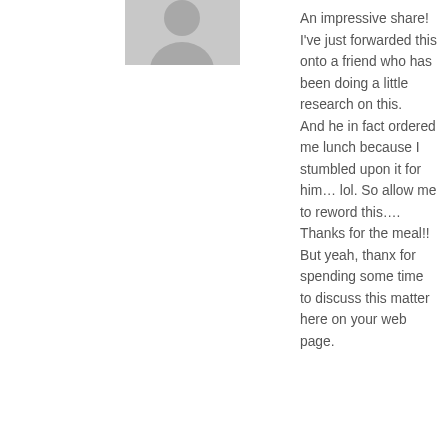[Figure (illustration): Gray placeholder avatar icon (person silhouette) at top left, partially cropped]
An impressive share! I've just forwarded this onto a friend who has been doing a little research on this.
And he in fact ordered me lunch because I stumbled upon it for him… lol. So allow me to reword this…. Thanks for the meal!!
But yeah, thanx for spending some time to discuss this matter here on your web page.
[Figure (illustration): Gray placeholder avatar icon (person silhouette) for commenter What Is Gyno Surgery]
What Is Gyno Surgery
July 2, 2016 at 8:38 pm
My brother recommended I would possibly like this website.
He used to be totally right. This post actually made my day.
You cann't consider just how so much